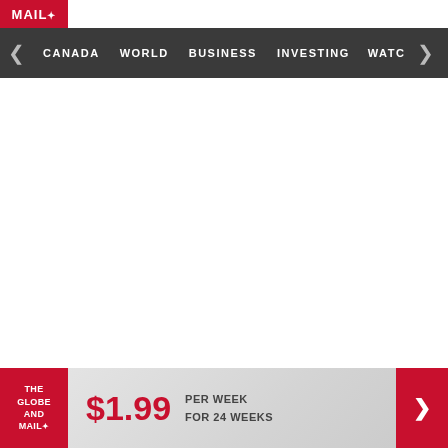MAIL
CANADA  WORLD  BUSINESS  INVESTING  WATC
STORY CONTINUES BELOW AD
[Figure (screenshot): White empty advertisement space]
[Figure (infographic): The Globe and Mail subscription banner ad: $1.99 PER WEEK FOR 24 WEEKS with red logo and red arrow button]